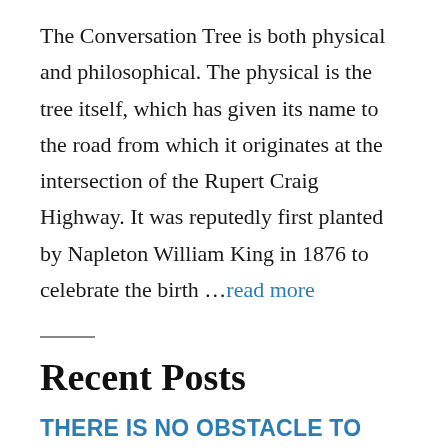The Conversation Tree is both physical and philosophical. The physical is the tree itself, which has given its name to the road from which it originates at the intersection of the Rupert Craig Highway. It was reputedly first planted by Napleton William King in 1876 to celebrate the birth ...read more
Recent Posts
THERE IS NO OBSTACLE TO